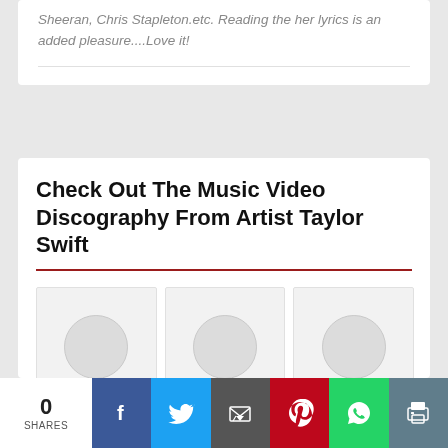Sheeran, Chris Stapleton.etc. Reading the her lyrics is an added pleasure....Love it!
Check Out The Music Video Discography From Artist Taylor Swift
[Figure (photo): Music video thumbnail placeholder 1 - Two Is Better Than, Boys Like Girls]
Two Is Better Than
Boys Like Girls
[Figure (photo): Music video thumbnail placeholder 2 - You Need To Calm, Taylor Swift]
You Need To Calm
Taylor Swift
[Figure (photo): Music video thumbnail placeholder 3 - ME! (feat. Brendon, Taylor Swift]
ME! (feat. Brendon
Taylor Swift
[Figure (photo): Music video thumbnail placeholder row 2 left]
[Figure (photo): Music video thumbnail placeholder row 2 center]
[Figure (photo): Music video thumbnail placeholder row 2 right]
0
SHARES